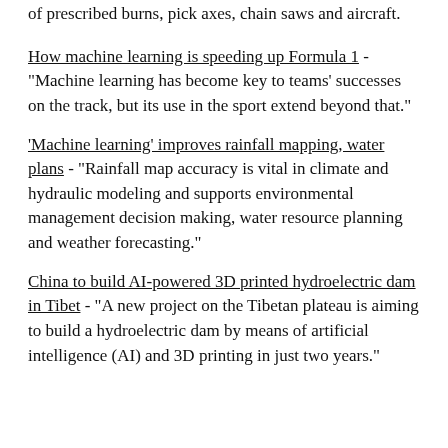of prescribed burns, pick axes, chain saws and aircraft.
How machine learning is speeding up Formula 1 - "Machine learning has become key to teams' successes on the track, but its use in the sport extend beyond that."
'Machine learning' improves rainfall mapping, water plans - "Rainfall map accuracy is vital in climate and hydraulic modeling and supports environmental management decision making, water resource planning and weather forecasting."
China to build AI-powered 3D printed hydroelectric dam in Tibet - "A new project on the Tibetan plateau is aiming to build a hydroelectric dam by means of artificial intelligence (AI) and 3D printing in just two years."